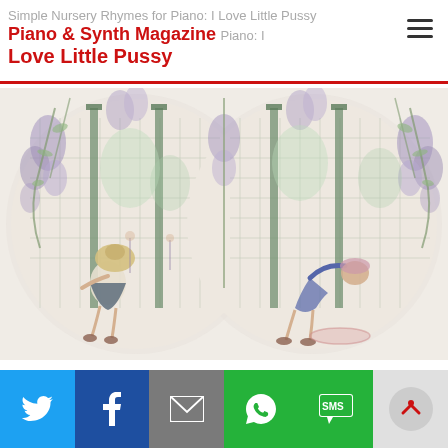Piano & Synth Magazine | Simple Nursery Rhymes for Piano: I Love Little Pussy
[Figure (illustration): Vintage illustration showing two children playing in a garden with wisteria-covered trellises and iron columns. Left panel shows a girl in a hat and skirt, right panel shows another child bending forward, both in a park-like setting.]
Social share buttons: Twitter, Facebook, Email, WhatsApp, SMS, More